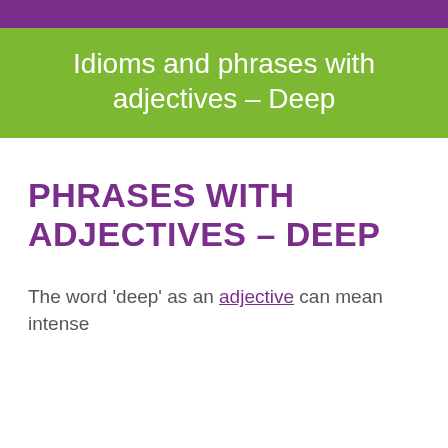Idioms and phrases with adjectives – Deep
PHRASES WITH ADJECTIVES – DEEP
The word 'deep' as an adjective can mean intense